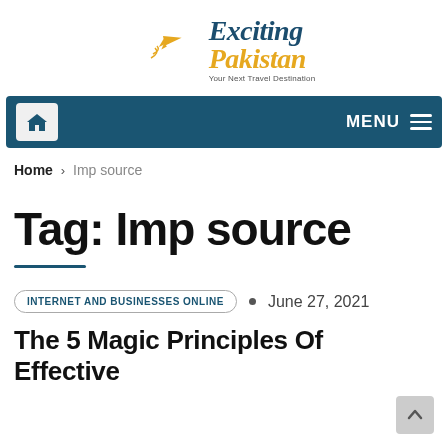[Figure (logo): Exciting Pakistan logo with airplane icon, crescent moon shape in teal, text 'Exciting Pakistan' in serif italic font with tagline 'Your Next Travel Destination']
Home icon | MENU
Home > Imp source
Tag: Imp source
INTERNET AND BUSINESSES ONLINE  •  June 27, 2021
The 5 Magic Principles Of Effective